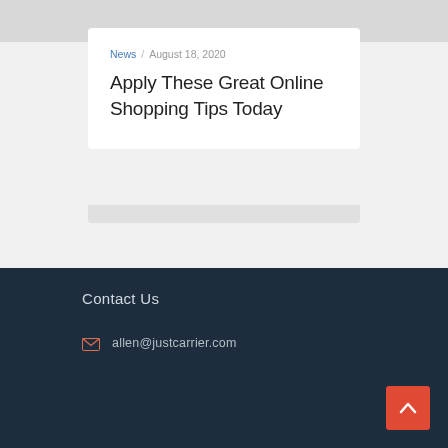News / August 18, 2020
Apply These Great Online Shopping Tips Today
Contact Us
allen@justcarrier.com